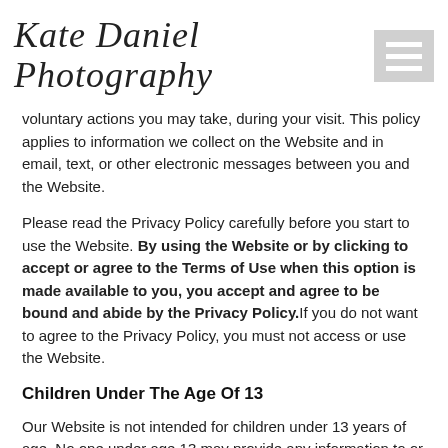Kate Daniel Photography
voluntary actions you may take, during your visit. This policy applies to information we collect on the Website and in email, text, or other electronic messages between you and the Website.
Please read the Privacy Policy carefully before you start to use the Website. By using the Website or by clicking to accept or agree to the Terms of Use when this option is made available to you, you accept and agree to be bound and abide by the Privacy Policy. If you do not want to agree to the Privacy Policy, you must not access or use the Website.
Children Under The Age Of 13
Our Website is not intended for children under 13 years of age. No one under age 13 may provide any information to or on the Website. We do not knowingly collect personal information from children under 13. If you are under 13, do not